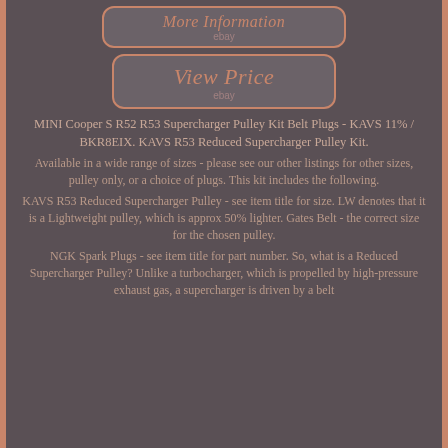[Figure (other): Button styled link: 'More Information' with 'ebay' subtext, dark rounded rectangle with pink/copper border]
[Figure (other): Button styled link: 'View Price' with 'ebay' subtext, dark rounded rectangle with pink/copper border]
MINI Cooper S R52 R53 Supercharger Pulley Kit Belt Plugs - KAVS 11% / BKR8EIX. KAVS R53 Reduced Supercharger Pulley Kit.
Available in a wide range of sizes - please see our other listings for other sizes, pulley only, or a choice of plugs. This kit includes the following.
KAVS R53 Reduced Supercharger Pulley - see item title for size. LW denotes that it is a Lightweight pulley, which is approx 50% lighter. Gates Belt - the correct size for the chosen pulley.
NGK Spark Plugs - see item title for part number. So, what is a Reduced Supercharger Pulley? Unlike a turbocharger, which is propelled by high-pressure exhaust gas, a supercharger is driven by a belt